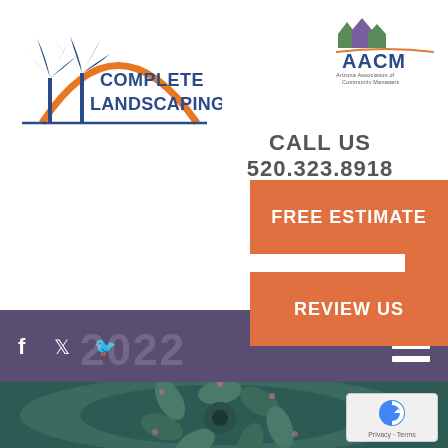[Figure (logo): Complete Landscaping logo with palm trees and orange arch]
[Figure (logo): AACM - Arizona Association of Community Managers logo]
CALL US 520.323.8918
FREE ESTIMATE
REVIEW US
[Figure (photo): Aerial close-up photo of a succulent plant with teal/blue-green leaves arranged in a spiral rosette pattern]
Privacy · Terms